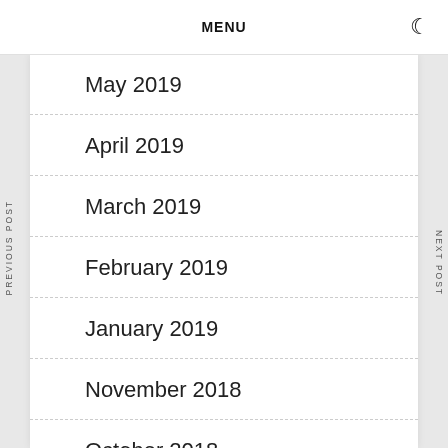MENU
May 2019
April 2019
March 2019
February 2019
January 2019
November 2018
October 2018